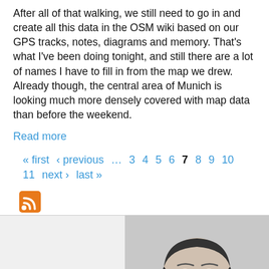After all of that walking, we still need to go in and create all this data in the OSM wiki based on our GPS tracks, notes, diagrams and memory. That's what I've been doing tonight, and still there are a lot of names I have to fill in from the map we drew. Already though, the central area of Munich is looking much more densely covered with map data than before the weekend.
Read more
« first ‹ previous … 3 4 5 6 7 8 9 10 11 next › last »
[Figure (other): RSS feed icon - orange square with white wifi-style signal symbol]
[Figure (photo): Black and white portrait photo of a man with short dark hair, smiling slightly, cropped at shoulders]